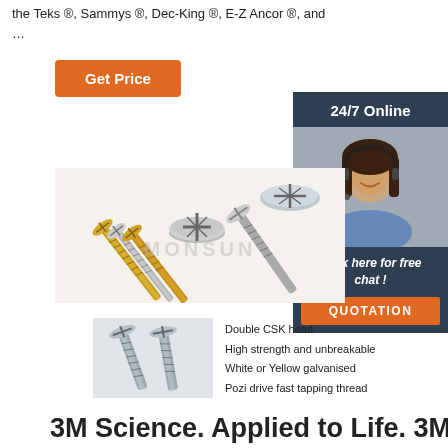the Teks ®, Sammys ®, Dec-King ®, E-Z Ancor ®, and …
Get Price
24/7 Online
[Figure (photo): Customer service representative wearing headset, smiling.]
Click here for free chat !
QUOTATION
[Figure (photo): Assorted screws — gold/yellow and silver drywall screws spread out, with MONSUN watermark.]
[Figure (photo): Two silver double CSK head screws close-up.]
Double CSK head
High strength and unbreakable
White or Yellow galvanised
Pozi drive fast tapping thread
3M Science. Applied to Life. 3M